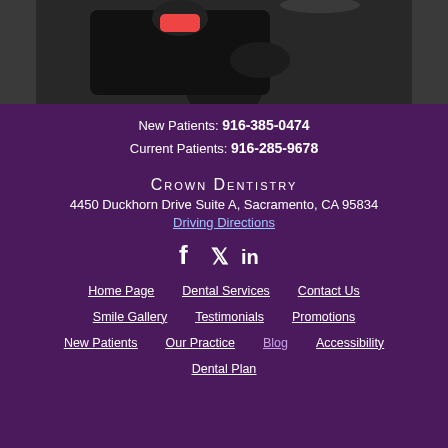[Figure (photo): Photo of dental professionals in black attire working on a patient, viewed from behind/above in a dental office setting.]
New Patients: 916-385-0474
Current Patients: 916-285-9678
Crown Dentistry
4450 Duckhorn Drive Suite A, Sacramento, CA 95834
Driving Directions
[Figure (illustration): Social media icons: Facebook (f), Twitter (bird), LinkedIn (in)]
Home Page
Dental Services
Contact Us
Smile Gallery
Testimonials
Promotions
New Patients
Our Practice
Blog
Accessibility
Dental Plan